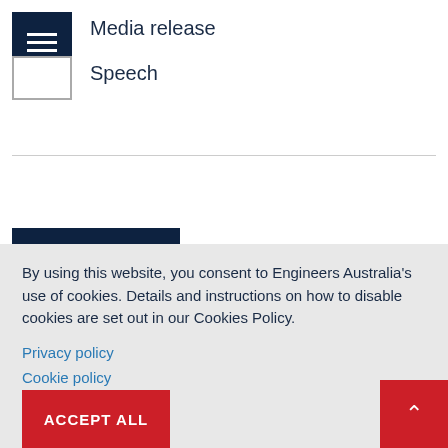Media release
Speech
Sort by date (Desc)
By using this website, you consent to Engineers Australia's use of cookies. Details and instructions on how to disable cookies are set out in our Cookies Policy.
Privacy policy
Cookie policy
ACCEPT ALL